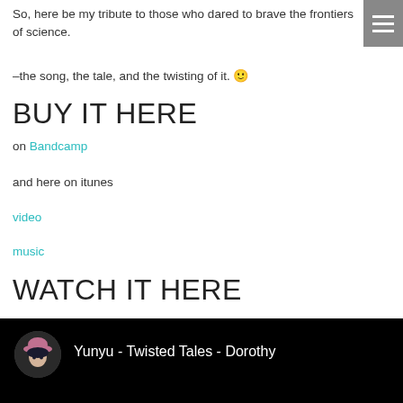So, here be my tribute to those who dared to brave the frontiers of science.
–the song, the tale, and the twisting of it. 🙂
BUY IT HERE
on Bandcamp
and here on itunes
video
music
WATCH IT HERE
[Figure (screenshot): Video embed showing avatar and title: Yunyu - Twisted Tales - Dorothy on black background]